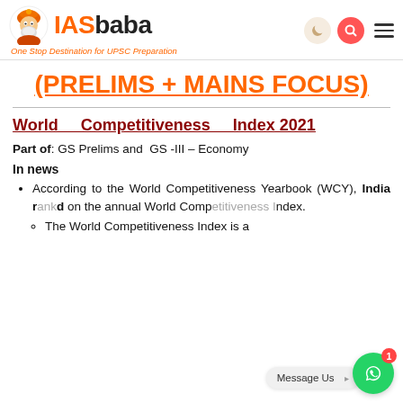IASbaba — One Stop Destination for UPSC Preparation
(PRELIMS + MAINS FOCUS)
World Competitiveness Index 2021
Part of: GS Prelims and GS -III – Economy
In news
According to the World Competitiveness Yearbook (WCY), India ranked 43rd on the annual World Competitiveness Index.
The World Competitiveness Index is a